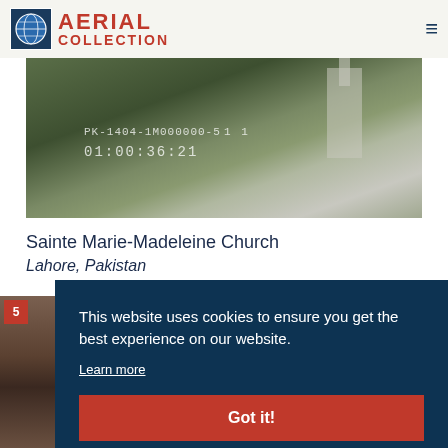AERIAL COLLECTION
[Figure (photo): Aerial/overhead photograph of Sainte Marie-Madeleine Church in Lahore, Pakistan, with timecode overlay reading PK-1404-1M000000-5... and 01:00:36:21]
Sainte Marie-Madeleine Church
Lahore, Pakistan
[Figure (photo): Thumbnail street-level photo with red badge showing number 5]
This website uses cookies to ensure you get the best experience on our website. Learn more
Got it!